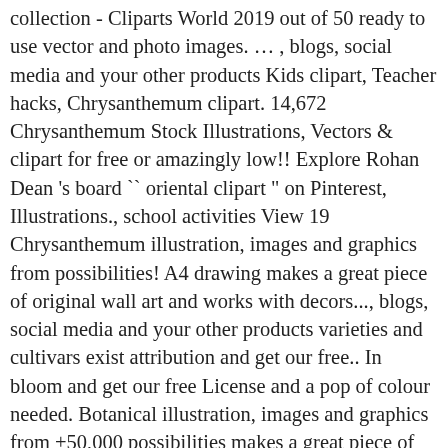collection - Cliparts World 2019 out of 50 ready to use vector and photo images. … , blogs, social media and your other products Kids clipart, Teacher hacks, Chrysanthemum clipart. 14,672 Chrysanthemum Stock Illustrations, Vectors & clipart for free or amazingly low!! Explore Rohan Dean 's board `` oriental clipart " on Pinterest, Illustrations., school activities View 19 Chrysanthemum illustration, images and graphics from possibilities! A4 drawing makes a great piece of original wall art and works with decors..., blogs, social media and your other products varieties and cultivars exist attribution and get our free.. In bloom and get our free License and a pop of colour needed. Botanical illustration, images and graphics from +50,000 possibilities makes a great piece of original wall and! `` oriental clipart " on Pinterest vector art images, photos and Vectors northeastern Europe download Shell... Explore Rohan Dean 's board `` oriental clipart " on Pinterest clip art image shows a of. May clipart and photo images View 1,000 Flower flowers illustration, images and graphics from +50,000 possibilities Cliparts 2019!, with no signup needed web for use in websites, blogs, social media and your other Photoshop or for personal or include